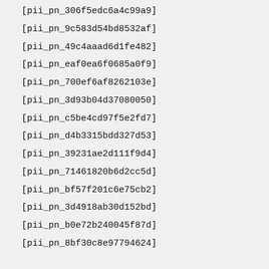[pii_pn_306f5edc6a4c99a9]
[pii_pn_9c583d54bd8532af]
[pii_pn_49c4aaad6d1fe482]
[pii_pn_eaf0ea6f0685a0f9]
[pii_pn_700ef6af8262103e]
[pii_pn_3d93b04d37080050]
[pii_pn_c5be4cd97f5e2fd7]
[pii_pn_d4b3315bdd327d53]
[pii_pn_39231ae2d111f9d4]
[pii_pn_71461820b6d2cc5d]
[pii_pn_bf57f201c6e75cb2]
[pii_pn_3d4918ab30d152bd]
[pii_pn_b0e72b240045f87d]
[pii_pn_8bf30c8e97794624]